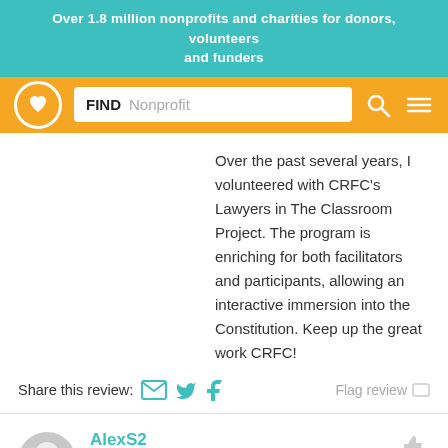Over 1.8 million nonprofits and charities for donors, volunteers and funders
[Figure (screenshot): Website header with orange background: logo circle with heart icon, search box with FIND Nonprofit placeholder, search icon, and menu icon]
Over the past several years, I volunteered with CRFC's Lawyers in The Classroom Project. The program is enriching for both facilitators and participants, allowing an interactive immersion into the Constitution. Keep up the great work CRFC!
Share this review:   Flag review
AlexS2
Volunteer
★★★★★ 10/31/2014
CRFC provides great opportunities for our
organization to outreach and with the public